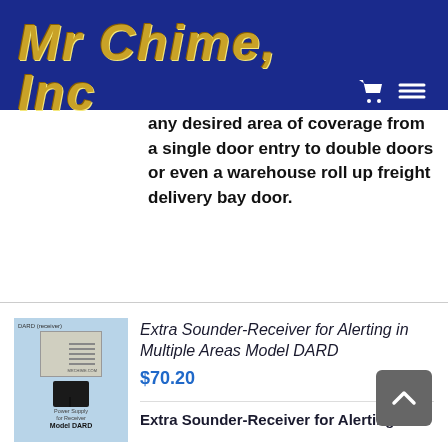Mr Chime, Inc
any desired area of coverage from a single door entry to double doors or even a warehouse roll up freight delivery bay door.
[Figure (photo): Product photo of Model DARD receiver and power supply on light blue background. Label reads 'DARD (receiver)' at top and 'Power Supply for Receiver' and 'Model DARD' at bottom.]
Extra Sounder-Receiver for Alerting in Multiple Areas Model DARD
$70.20
Extra Sounder-Receiver for Alerting in